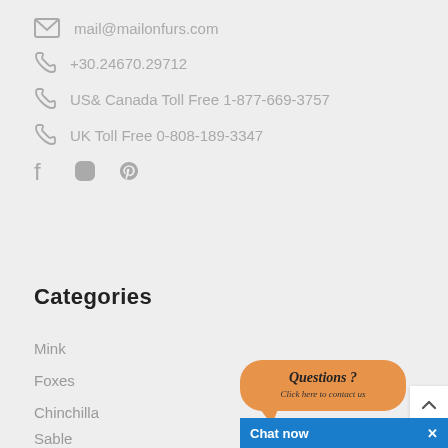mail@mailonfurs.com
+30.24670.29712
US& Canada Toll Free 1-877-669-3757
UK Toll Free 0-808-189-3347
[Figure (infographic): Social media icons: Facebook, Instagram, Pinterest]
Categories
Mink
Foxes
Chinchilla
Sable
[Figure (other): Orange speech bubble with text 'Questions ? Click here to contact us']
[Figure (other): Chat now button bar in blue with X close button]